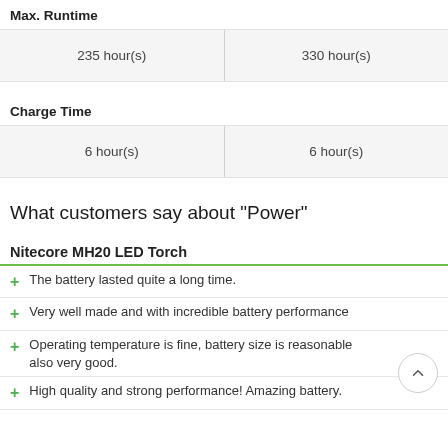Max. Runtime
| 235 hour(s) | 330 hour(s) |
Charge Time
| 6 hour(s) | 6 hour(s) |
What customers say about "Power"
Nitecore MH20 LED Torch
The battery lasted quite a long time.
Very well made and with incredible battery performance
Operating temperature is fine, battery size is reasonable also very good.
High quality and strong performance! Amazing battery.